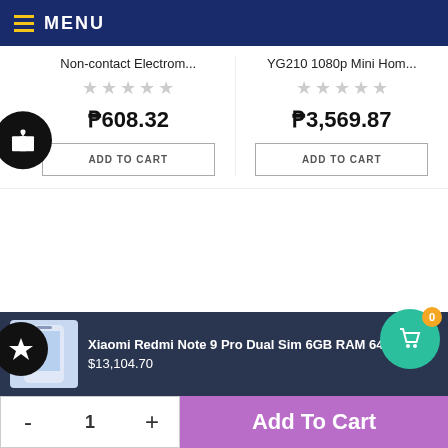MENU
Non-contact Electrom...
YG210 1080p Mini Hom...
₱608.32
₱3,569.87
ADD TO CART
ADD TO CART
CUSTOMER REVIEWS
Xiaomi Redmi Note 9 Pro Dual Sim 6GB RAM 64GB LT
$13,104.70
- 1 + Add To Cart